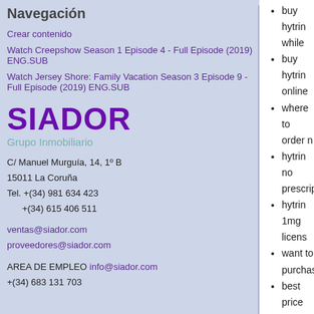Navegación
Crear contenido
Watch Creepshow Season 1 Episode 4 - Full Episode (2019) ENG.SUB
Watch Jersey Shore: Family Vacation Season 3 Episode 9 - Full Episode (2019) ENG.SUB
[Figure (logo): SIADOR Grupo Inmobiliario logo — purple bold text SIADOR with teal subtitle Grupo Inmobiliario]
C/ Manuel Murguía, 14, 1º B
15011 La Coruña
Tel. +(34) 981 634 423
     +(34) 615 406 511
ventas@siador.com
proveedores@siador.com
AREA DE EMPLEO info@siador.com
+(34) 683 131 703
buy hytrin while
buy hytrin online
where to order n
hytrin no prescrip
hytrin 1mg licens
want to purchase
best price hytrin
purchase hytrin c
buy hytrin baham
hytrin purchased
order hytrin augu
pharmacy hytrin
pharmacy hytrin
hytrin canadian p
hytrin for bph ove
how to buy hytrin
order hytrin bato
cheap hytrin exp
cheap hytrin no p
want to buy hytri
hytrin sr overnigh
pharmacy hytrin